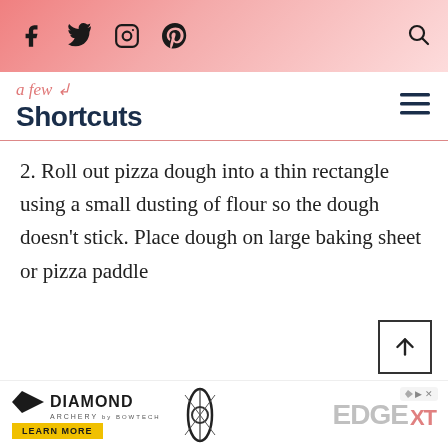Social media icons: Facebook, Twitter, Instagram, Pinterest; Search icon
[Figure (logo): A Few Shortcuts blog logo with cursive 'a few' in coral and bold dark blue 'Shortcuts']
2. Roll out pizza dough into a thin rectangle using a small dusting of flour so the dough doesn't stick. Place dough on large baking sheet or pizza paddle
[Figure (other): Back to top arrow button]
[Figure (other): Diamond Archery advertisement banner with Edge XT product]